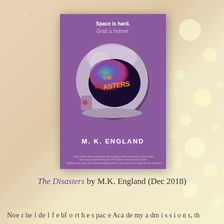[Figure (photo): Book cover of 'The Disasters' by M.K. England. Purple background with a space helmet in the center. The helmet visor reflects colorful graffiti-style text reading 'THE DISASTERS'. Tagline at top: 'Space is hard. Grab a helmet.' Author name at bottom: M. K. ENGLAND.]
The Disasters by M.K. England (Dec 2018)
N...